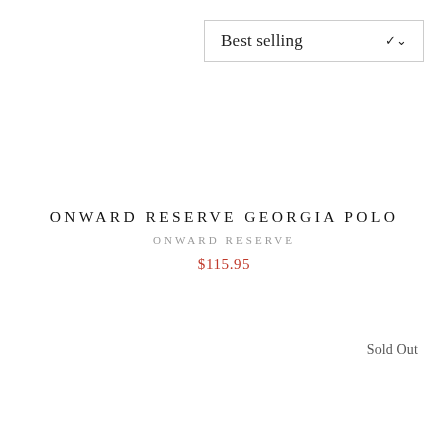Best selling
ONWARD RESERVE GEORGIA POLO
ONWARD RESERVE
$115.95
Sold Out